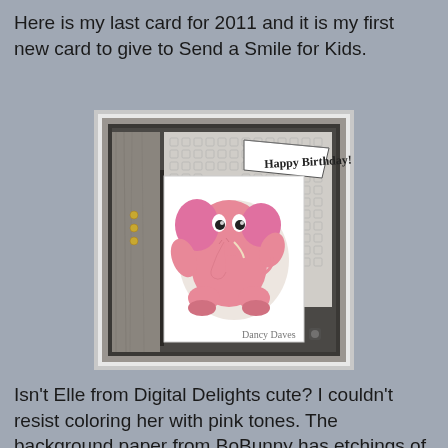Here is my last card for 2011 and it is my first new card to give to Send a Smile for Kids.
[Figure (photo): A handmade birthday card featuring a cute pink cartoon elephant stamped image in the center, with a 'Happy Birthday' banner in the upper right. The card has a dark scalloped border, a patterned background with squares, and a gray woodgrain paper on the left side with three gold brad embellishments. A watermark reading 'Dancy Daves' appears in the lower right corner.]
Isn't Elle from Digital Delights cute?  I couldn't resist coloring her with pink tones.  The background paper from BoBunny has etchings of different safari animals which I thought worked will with the theme.  I also